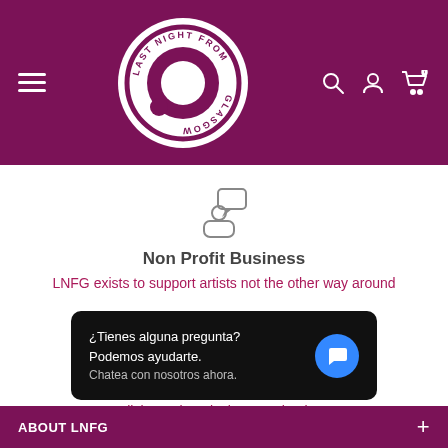[Figure (logo): Last Night From Glasgow circular logo on purple header with hamburger menu, search, account, and cart icons]
Non Profit Business
LNFG exists to support artists not the other way around
Instalment Plans Available
Click "put it on laybuy" at checkout
[Figure (screenshot): Chat popup: ¿Tienes alguna pregunta? Podemos ayudarte. Chatea con nosotros ahora.]
ABOUT LNFG